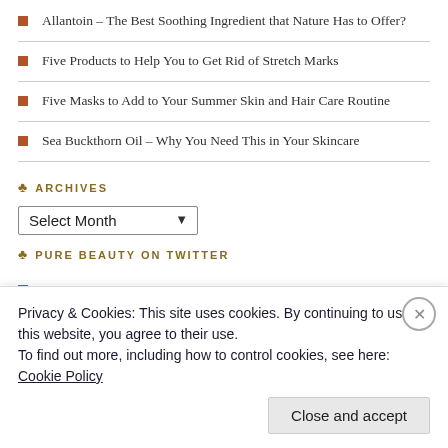Allantoin – The Best Soothing Ingredient that Nature Has to Offer?
Five Products to Help You to Get Rid of Stretch Marks
Five Masks to Add to Your Summer Skin and Hair Care Routine
Sea Buckthorn Oil – Why You Need This in Your Skincare
ARCHIVES
Select Month
PURE BEAUTY ON TWITTER
Just posted a photo @ PureBeautyuk instagram.com/p/ChWcF6Dgmx3/… 1 day ago
Just posted a photo @ PureBeautyuk instagram.com/p/ChST25PLSJt/… 3 days ago
Privacy & Cookies: This site uses cookies. By continuing to use this website, you agree to their use.
To find out more, including how to control cookies, see here: Cookie Policy
Close and accept